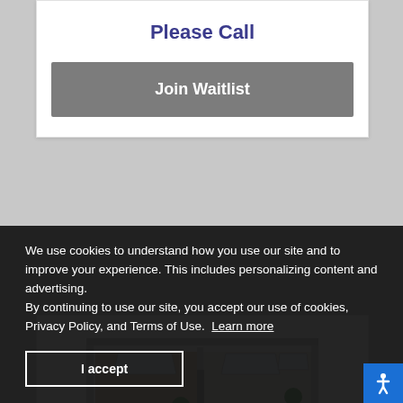Please Call
Join Waitlist
[Figure (illustration): 3D isometric floor plan rendering showing two rooms with skylights, plants, furniture including a bed and desk area, viewed from above at an angle]
We use cookies to understand how you use our site and to improve your experience. This includes personalizing content and advertising.
By continuing to use our site, you accept our use of cookies, Privacy Policy, and Terms of Use.  Learn more
I accept